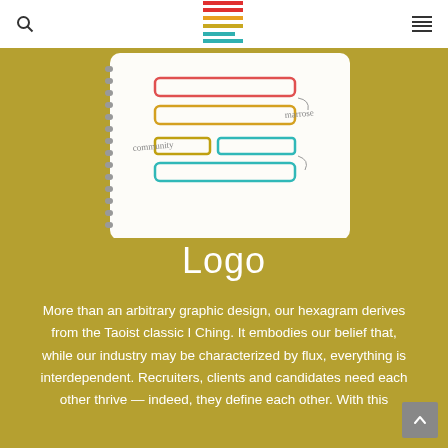[Figure (illustration): A spiral-bound notebook open to a page with hand-drawn colored bar sketches in red, orange, yellow, and teal/cyan colors, on a golden-yellow background.]
Logo
More than an arbitrary graphic design, our hexagram derives from the Taoist classic I Ching. It embodies our belief that, while our industry may be characterized by flux, everything is interdependent. Recruiters, clients and candidates need each other thrive — indeed, they define each other. With this